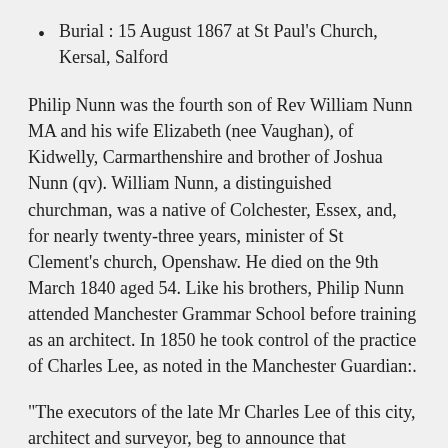Burial : 15 August 1867 at St Paul's Church, Kersal, Salford
Philip Nunn was the fourth son of Rev William Nunn MA and his wife Elizabeth (nee Vaughan), of Kidwelly, Carmarthenshire and brother of Joshua Nunn (qv). William Nunn, a distinguished churchman, was a native of Colchester, Essex, and, for nearly twenty-three years, minister of St Clement’s church, Openshaw. He died on the 9th March 1840 aged 54. Like his brothers, Philip Nunn attended Manchester Grammar School before training as an architect. In 1850 he took control of the practice of Charles Lee, as noted in the Manchester Guardian:.
“The executors of the late Mr Charles Lee of this city, architect and surveyor, beg to announce that